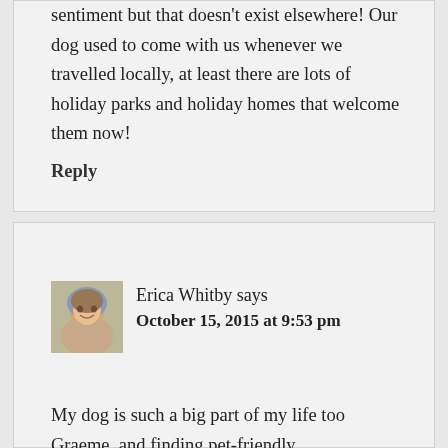sentiment but that doesn't exist elsewhere! Our dog used to come with us whenever we travelled locally, at least there are lots of holiday parks and holiday homes that welcome them now!
Reply
Erica Whitby says
October 15, 2015 at 9:53 pm
[Figure (photo): Profile photo of Erica Whitby, a woman smiling outdoors]
My dog is such a big part of my life too Graeme, and finding pet-friendly accommodation is right at the top of my priority list when traveling within Australia!